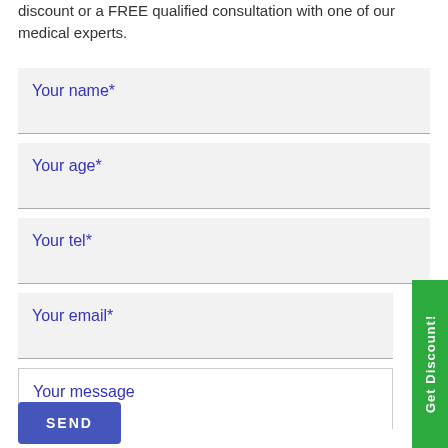discount or a FREE qualified consultation with one of our medical experts.
Your name*
Your age*
Your tel*
Your email*
Your message
SEND
Get Discount!